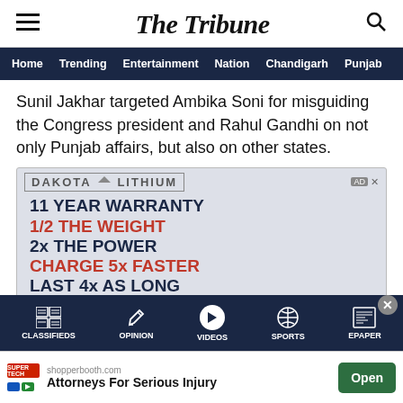The Tribune
Home  Trending  Entertainment  Nation  Chandigarh  Punjab
Sunil Jakhar targeted Ambika Soni for misguiding the Congress president and Rahul Gandhi on not only Punjab affairs, but also on other states.
[Figure (screenshot): Dakota Lithium advertisement: 11 YEAR WARRANTY, 1/2 THE WEIGHT, 2x THE POWER, CHARGE 5x FASTER, LAST 4x AS LONG]
CLASSIFIEDS  OPINION  VIDEOS  SPORTS  EPAPER
shopperbooth.com  Attorneys For Serious Injury  Open